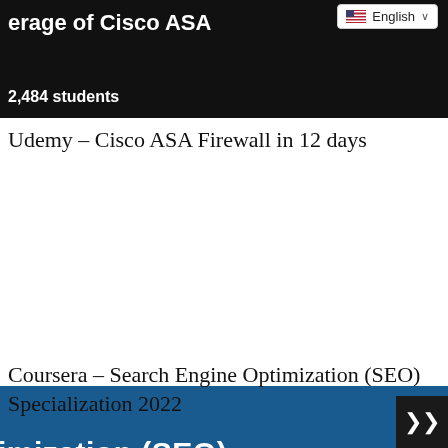[Figure (screenshot): Black background course thumbnail showing partial text 'erage of Cisco ASA' with a language selector dropdown showing English flag and text, and '2,484 students' count at bottom left]
Udemy – Cisco ASA Firewall in 12 days
[Figure (screenshot): Blue background course thumbnail showing partial text 'imization (SEO)' in large white bold font and 'timization tools and strategies' in smaller italic white text at bottom]
Coursera – Search Engine Optimization (SEO) Specialization 2022
[Figure (screenshot): Partial gray-blue course thumbnail with partial letter 'g' visible at bottom left]